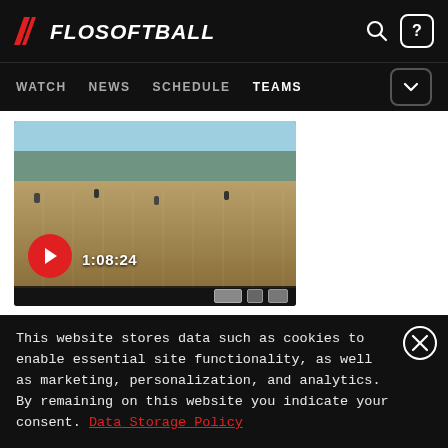FLOSOFTBALL — WATCH | NEWS | SCHEDULE | TEAMS
[Figure (screenshot): Video thumbnail of a softball game with play button showing duration 1:08:24]
PRO Nebraska Gold vs. Impact Gold - 2021 Top Club National Fall...
Nov 6, 2021
This website stores data such as cookies to enable essential site functionality, as well as marketing, personalization, and analytics. By remaining on this website you indicate your consent. Data Storage Policy